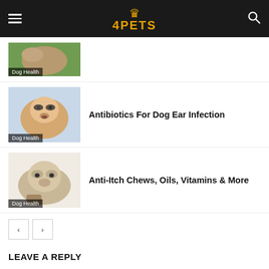4PETS
[Figure (photo): Dog being treated, with Dog Health badge overlay (partially visible, cropped at top)]
Antibiotics For Dog Ear Infection
[Figure (photo): Chihuahua dog with ear being examined, with Dog Health badge overlay]
Anti-Itch Chews, Oils, Vitamins & More
[Figure (photo): Shih Tzu dog lying down, with Dog Health badge overlay]
LEAVE A REPLY
Comment: